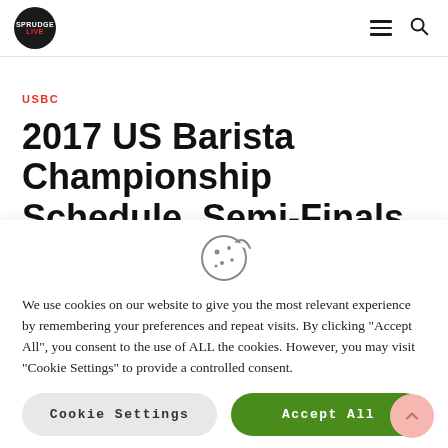Sprudge Live logo, hamburger menu, search icon
USBC
2017 US Barista Championship Schedule, Semi-Finals
We use cookies on our website to give you the most relevant experience by remembering your preferences and repeat visits. By clicking "Accept All", you consent to the use of ALL the cookies. However, you may visit "Cookie Settings" to provide a controlled consent.
Cookie Settings
Accept All